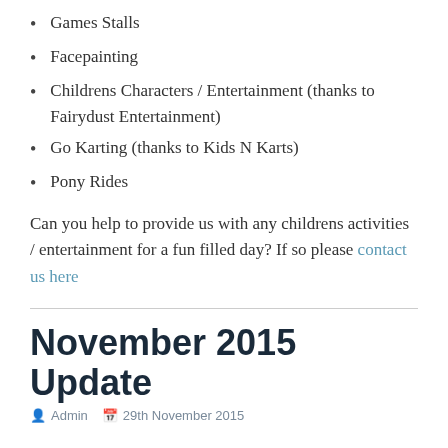Games Stalls
Facepainting
Childrens Characters / Entertainment (thanks to Fairydust Entertainment)
Go Karting (thanks to Kids N Karts)
Pony Rides
Can you help to provide us with any childrens activities / entertainment for a fun filled day? If so please contact us here
November 2015 Update
Admin   29th November 2015